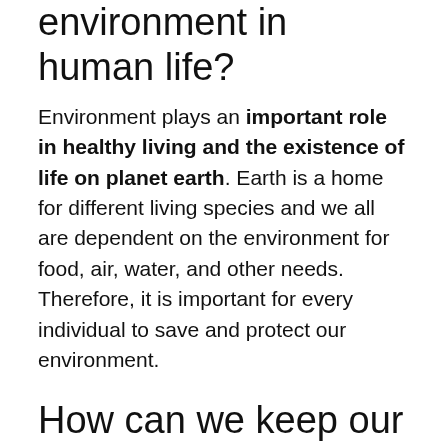environment in human life?
Environment plays an important role in healthy living and the existence of life on planet earth. Earth is a home for different living species and we all are dependent on the environment for food, air, water, and other needs. Therefore, it is important for every individual to save and protect our environment.
How can we keep our environment clean essay?
One should use recycled and eco-friendly products such as paper or jute bags instead of plastic bags. Throwing of plastic bags by the roadside only makes our